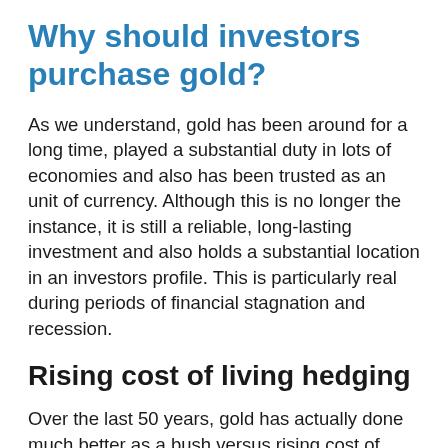Why should investors purchase gold?
As we understand, gold has been around for a long time, played a substantial duty in lots of economies and also has been trusted as an unit of currency. Although this is no longer the instance, it is still a reliable, long-lasting investment and also holds a substantial location in an investors profile. This is particularly real during periods of financial stagnation and recession.
Rising cost of living hedging
Over the last 50 years, gold has actually done much better as a bush versus rising cost of living shocks to the economic